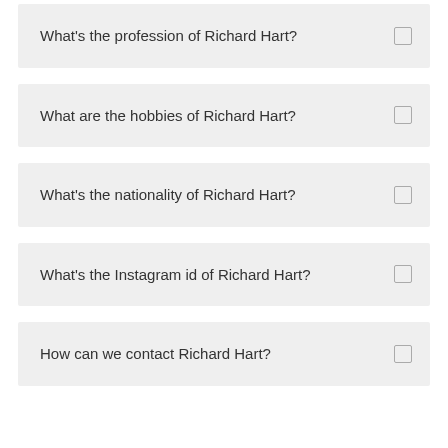What’s the profession of Richard Hart?
What are the hobbies of Richard Hart?
What’s the nationality of Richard Hart?
What’s the Instagram id of Richard Hart?
How can we contact Richard Hart?